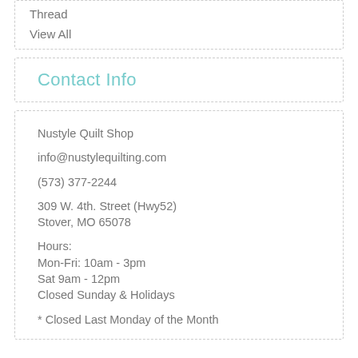Thread
View All
Contact Info
Nustyle Quilt Shop
info@nustylequilting.com
(573) 377-2244
309 W. 4th. Street (Hwy52)
Stover, MO 65078
Hours:
Mon-Fri: 10am - 3pm
Sat 9am - 12pm
Closed Sunday & Holidays
* Closed Last Monday of the Month